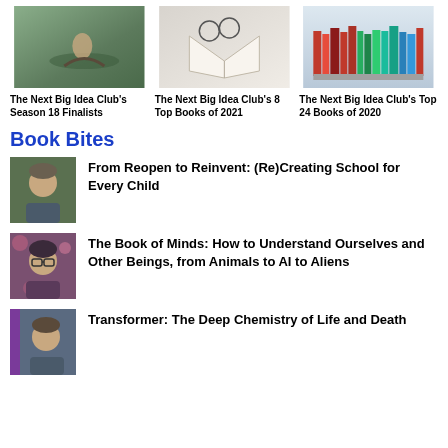[Figure (photo): Person reading in a hammock outdoors]
The Next Big Idea Club's Season 18 Finalists
[Figure (photo): Open book with glasses on white background]
The Next Big Idea Club's 8 Top Books of 2021
[Figure (photo): Colorful books on a shelf]
The Next Big Idea Club's Top 24 Books of 2020
Book Bites
[Figure (photo): Author portrait photo for book bite 1]
From Reopen to Reinvent: (Re)Creating School for Every Child
[Figure (photo): Author portrait photo for book bite 2]
The Book of Minds: How to Understand Ourselves and Other Beings, from Animals to AI to Aliens
[Figure (photo): Author portrait photo for book bite 3]
Transformer: The Deep Chemistry of Life and Death